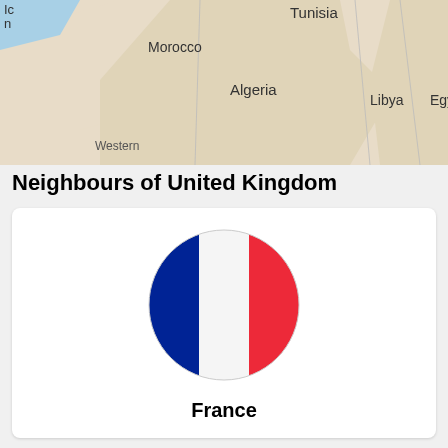[Figure (map): Partial map showing North Africa region with labels: Tunisia, Morocco, Algeria, Libya, Egypt (partial), Western Sahara (partial), and partial text 'Ic n' at top left. Blue sea area at top, tan/beige land areas with country borders and labels.]
Neighbours of United Kingdom
[Figure (illustration): Circular French flag icon showing three vertical stripes: blue on left, white in center, red on right, displayed as a circle/disc shape.]
France
Questions & Answers